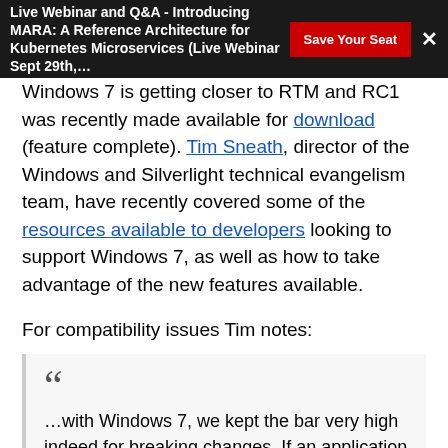Live Webinar and Q&A - Introducing MARA: A Reference Architecture for Kubernetes Microservices (Live Webinar Sept 29th,…
Windows 7 is getting closer to RTM and RC1 was recently made available for download (feature complete). Tim Sneath, director of the Windows and Silverlight technical evangelism team, have recently covered some of the resources available to developers looking to support Windows 7, as well as how to take advantage of the new features available.
For compatibility issues Tim notes:
…with Windows 7, we kept the bar very high indeed for breaking changes. If an application runs on Windows Vista today, there's a very strong likelihood that the application will run